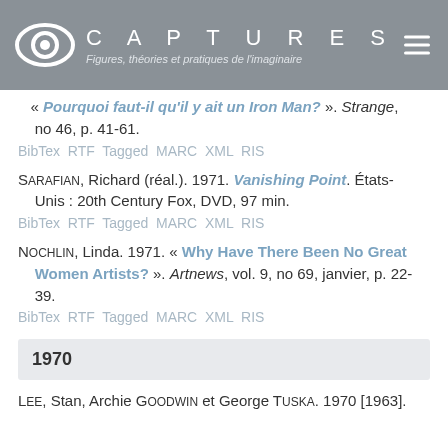CAPTURES — Figures, théories et pratiques de l'imaginaire
« Pourquoi faut-il qu'il y ait un Iron Man? ». Strange, no 46, p. 41-61.
BibTex RTF Tagged MARC XML RIS
SARAFIAN, Richard (réal.). 1971. Vanishing Point. États-Unis : 20th Century Fox, DVD, 97 min.
BibTex RTF Tagged MARC XML RIS
NOCHLIN, Linda. 1971. « Why Have There Been No Great Women Artists? ». Artnews, vol. 9, no 69, janvier, p. 22-39.
BibTex RTF Tagged MARC XML RIS
1970
LEE, Stan, Archie GOODWIN et George TUSKA. 1970 [1963].